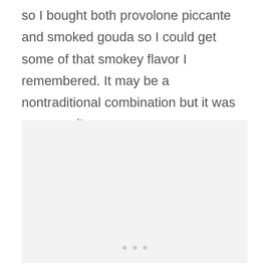so I bought both provolone piccante and smoked gouda so I could get some of that smokey flavor I remembered. It may be a nontraditional combination but it was very good!
[Figure (photo): A light gray placeholder image area with three small gray dots near the bottom center, indicating a loading or empty image slot.]